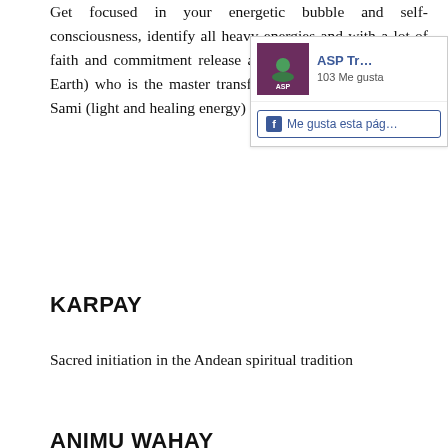Get focused in your energetic bubble and self-consciousness, identify all heavy energies and with a lot of faith and commitment release all to Pacha Mama (Mother Earth) who is the master transformer of that energy into a Sami (light and healing energy)
[Figure (screenshot): ASP Travel Peru Facebook page widget showing logo, page name 'ASP Tr...' with '103 Me gusta' and a 'Me gusta esta pág' button]
KARPAY
Sacred initiation in the Andean spiritual tradition
ANIMU WAHAY
Healing technic of the Inka people to remove all traumas, difficulties, fears, phobias and other you inherited or incorporated in your physical and spiritual body during your life time